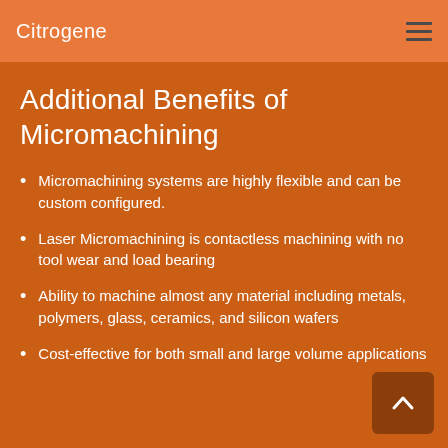Citrogene
Additional Benefits of Micromachining
Micromachining systems are highly flexible and can be custom configured.
Laser Micromachining is contactless machining with no tool wear and load bearing
Ability to machine almost any material including metals, polymers, glass, ceramics, and silicon wafers
Cost-effective for both small and large volume applications